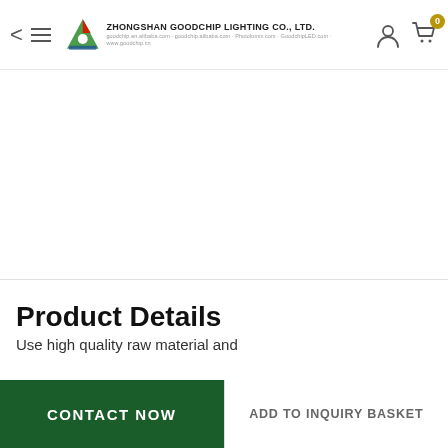ZHONGSHAN GOODCHIP LIGHTING CO., LTD.
Product Details
Use high quality raw material and
CONTACT NOW | ADD TO INQUIRY BASKET